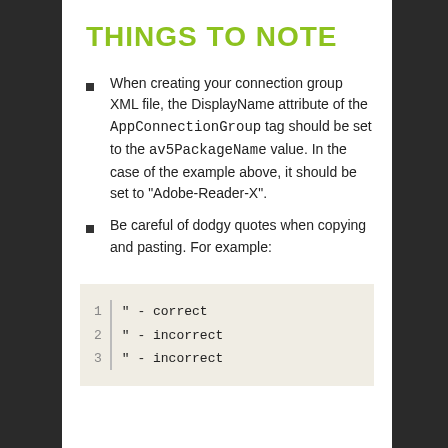THINGS TO NOTE
When creating your connection group XML file, the DisplayName attribute of the AppConnectionGroup tag should be set to the av5PackageName value. In the case of the example above, it should be set to “Adobe-Reader-X”.
Be careful of dodgy quotes when copying and pasting. For example:
[Figure (screenshot): Code block showing line numbers 1, 2, 3 with a vertical divider. Line 1: " - correct, Line 2: “ - incorrect, Line 3: ” - incorrect]